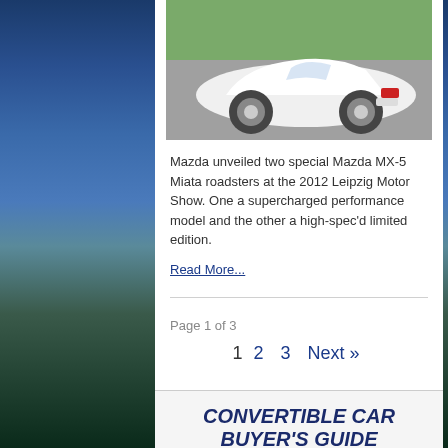[Figure (photo): White Mazda MX-5 Miata convertible roadster photographed from the rear three-quarter angle on a road with green hillside background]
Mazda unveiled two special Mazda MX-5 Miata roadsters at the 2012 Leipzig Motor Show. One a supercharged performance model and the other a high-spec'd limited edition.
Read More...
Page 1 of 3
1   2   3   Next »
CONVERTIBLE CAR BUYER'S GUIDE
Our Buying Guide gives you a breakdown of all the best convertible cars for sale around the world.
Search for  |  Business Focus
1.  FIND WHO HAS THIS NUMBER